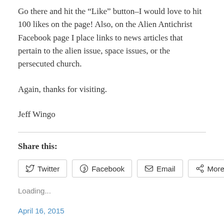Go there and hit the “Like” button–I would love to hit 100 likes on the page! Also, on the Alien Antichrist Facebook page I place links to news articles that pertain to the alien issue, space issues, or the persecuted church.
Again, thanks for visiting.
Jeff Wingo
Share this:
Loading...
April 16, 2015